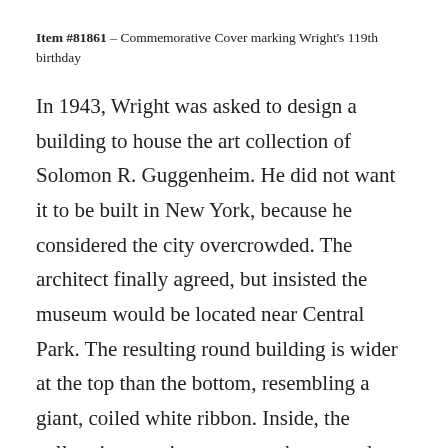Item #81861 – Commemorative Cover marking Wright's 119th birthday
In 1943, Wright was asked to design a building to house the art collection of Solomon R. Guggenheim. He did not want it to be built in New York, because he considered the city overcrowded. The architect finally agreed, but insisted the museum would be located near Central Park. The resulting round building is wider at the top than the bottom, resembling a giant, coiled white ribbon. Inside, the gallery is a continuous ramp that extends from the ground floor to the ceiling. Construction on the Guggenheim began in 1956, but it wasn't completed until about six months after Wright's death on April 9, 1959.